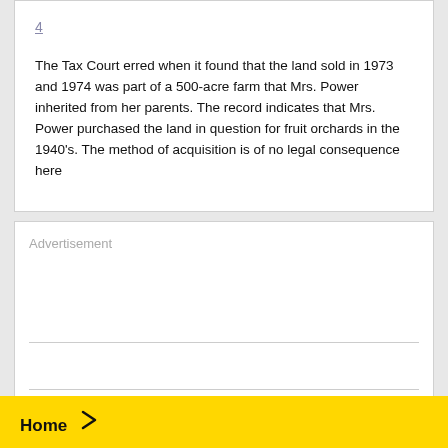4
The Tax Court erred when it found that the land sold in 1973 and 1974 was part of a 500-acre farm that Mrs. Power inherited from her parents. The record indicates that Mrs. Power purchased the land in question for fruit orchards in the 1940's. The method of acquisition is of no legal consequence here
[Figure (other): Advertisement box with two horizontal dividing lines]
Home